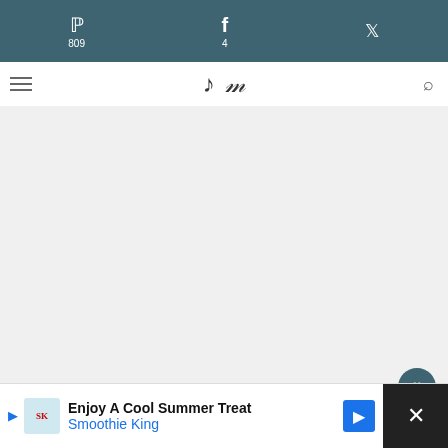Pinterest 809 | Facebook 4 | Twitter
Blog logo navigation bar
[Figure (screenshot): Gray advertisement placeholder area]
These homemade cornbread croutons are my favorite way to use up leftover cornbread. They're easy to make with only 3 ingredients in less than 30 minutes!
[Figure (screenshot): What's Next panel: Best Cornbread...]
[Figure (screenshot): Bottom advertisement banner: Enjoy A Cool Summer Treat - Smoothie King]